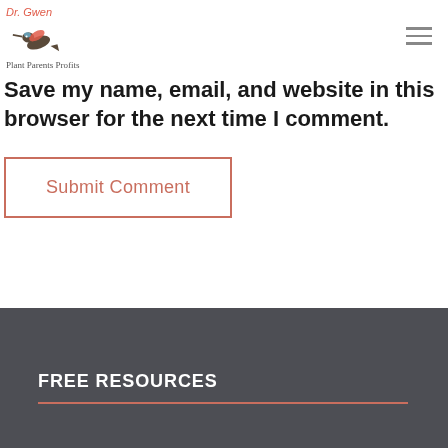[Figure (logo): Dr. Gwen logo with hummingbird illustration and script text below]
Save my name, email, and website in this browser for the next time I comment.
Submit Comment
FREE RESOURCES